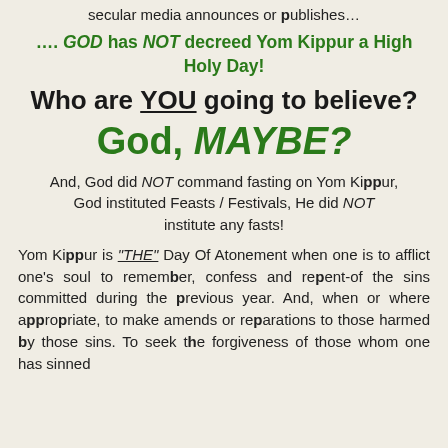secular media announces or publishes...
.... GOD has NOT decreed Yom Kippur a High Holy Day!
Who are YOU going to believe?
God, MAYBE?
And, God did NOT command fasting on Yom Kippur, God instituted Feasts / Festivals, He did NOT institute any fasts!
Yom Kippur is "THE" Day Of Atonement when one is to afflict one's soul to remember, confess and repent-of the sins committed during the previous year. And, when or where appropriate, to make amends or reparations to those harmed by those sins. To seek the forgiveness of those whom one has sinned